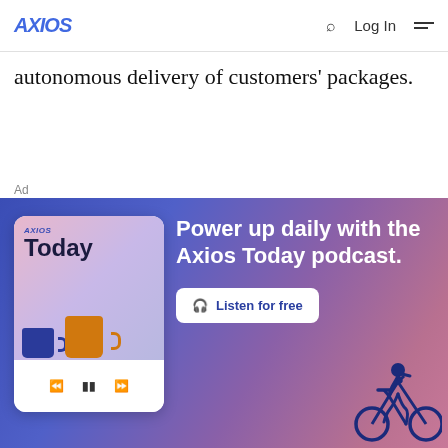AXIOS | Log In
autonomous delivery of customers' packages.
Ad
[Figure (illustration): Axios Today podcast advertisement banner with blue-purple gradient background. Left side shows a white rounded podcast player card with 'AXIOS Today' logo, two coffee mugs (navy and orange), and media controls (rewind, pause, fast-forward). Right side shows white text 'Power up daily with the Axios Today podcast.' with a white 'Listen for free' button and a cyclist silhouette in dark blue.]